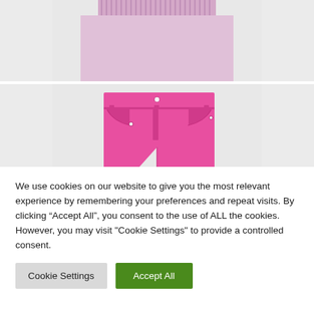[Figure (photo): Partial view of a pink/lavender ribbed knit sweater laid flat on white/light grey background, only bottom portion visible at top of page]
[Figure (photo): Bright pink/fuchsia high-waisted jeans laid flat on white/light grey background, showing waistband, pockets, button and zipper detail, upper portion of legs visible]
We use cookies on our website to give you the most relevant experience by remembering your preferences and repeat visits. By clicking “Accept All”, you consent to the use of ALL the cookies. However, you may visit "Cookie Settings" to provide a controlled consent.